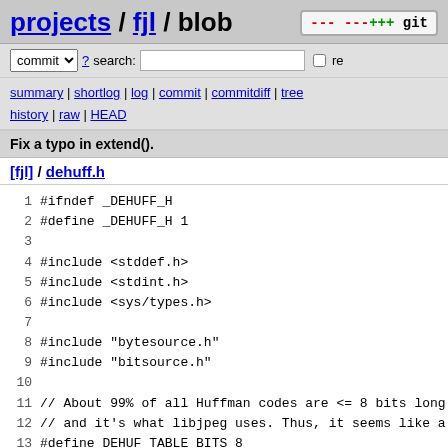projects / fjl / blob
commit ? search: re
summary | shortlog | log | commit | commitdiff | tree history | raw | HEAD
Fix a typo in extend().
[fjl] / dehuff.h
1 #ifndef _DEHUFF_H
2 #define _DEHUFF_H 1
3 
4 #include <stddef.h>
5 #include <stdint.h>
6 #include <sys/types.h>
7 
8 #include "bytesource.h"
9 #include "bitsource.h"
10 
11 // About 99% of all Huffman codes are <= 8 bits long (s
12 // and it's what libjpeg uses. Thus, it seems like a re
13 #define DEHUF_TABLE_BITS 8
14 #define DEHUF_TABLE_SIZE (1 << DEHUF_TABLE_BITS)
15 static const int DEHUF_SLOW_PATH = -1;
16 
17 struct huffman_table {
18         unsigned num_codes[17];     // BITS
19         unsigned char codes[256];   // HUEFVAL